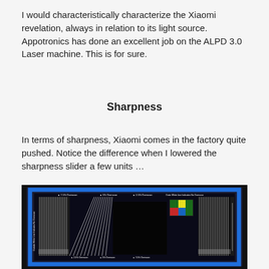I would characteristically characterize the Xiaomi revelation, always in relation to its light source. Appotronics has done an excellent job on the ALPD 3.0 Laser machine. This is for sure.
Sharpness
In terms of sharpness, Xiaomi comes in the factory quite pushed. Notice the difference when I lowered the sharpness slider a few units …
[Figure (photo): A photo of a projector calibration/test pattern screen showing overscan markers (7.5%, 5%, 2.5% overscan indicators), resolution test bars, a black square in the center, and a colorful reference image, displayed on a projected surface with a blue border, against a dark background.]